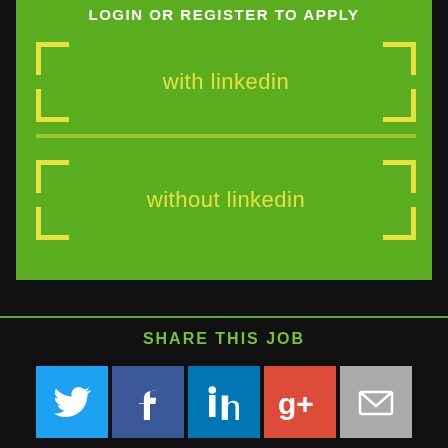LOGIN OR REGISTER TO APPLY
with linkedin
without linkedin
SHARE THIS JOB
[Figure (infographic): Social share icons: Twitter (blue), Facebook (dark blue), LinkedIn (blue), Google+ (red), Email (grey)]